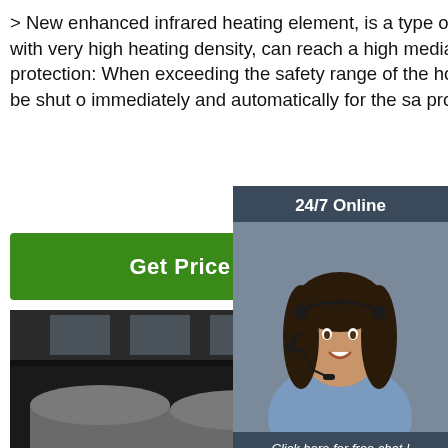> New enhanced infrared heating element, is a type of high temperature hot plate stirrer with very high heating density, can reach a high media temperature. > High safety protection: When exceeding the safety range of the hotplate (°C adjustable), the heating can be shut off immediately and automatically for the safety protection.
Get Price
24/7 Online
[Figure (photo): Customer service representative woman wearing headset, smiling, overlaid on dark panel]
Click here for free chat !
QUOTATION
[Figure (photo): Industrial facility interior showing cylindrical metal heating elements or rods on a production floor]